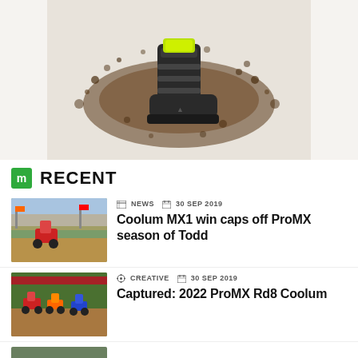[Figure (photo): Motocross boot with yellow accents on a light background with dirt/mud exploding around it]
RECENT
[Figure (photo): Motocross rider on a red bike racing on a dirt track at an outdoor event]
NEWS  30 SEP 2019
Coolum MX1 win caps off ProMX season of Todd
[Figure (photo): Multiple motocross riders racing on a dirt track, green trees in background]
CREATIVE  30 SEP 2019
Captured: 2022 ProMX Rd8 Coolum